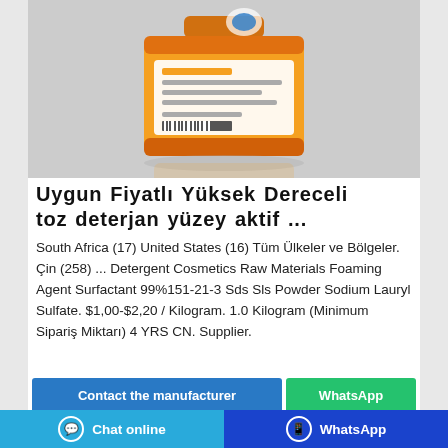[Figure (photo): Orange/yellow laundry detergent powder bag product photo against grey background]
Uygun Fiyatlı Yüksek Dereceli toz deterjan yüzey aktif ...
South Africa (17) United States (16) Tüm Ülkeler ve Bölgeler. Çin (258) ... Detergent Cosmetics Raw Materials Foaming Agent Surfactant 99%151-21-3 Sds Sls Powder Sodium Lauryl Sulfate. $1,00-$2,20 / Kilogram. 1.0 Kilogram (Minimum Sipariş Miktarı) 4 YRS CN. Supplier.
Contact the manufacturer
WhatsApp
Chat online    WhatsApp